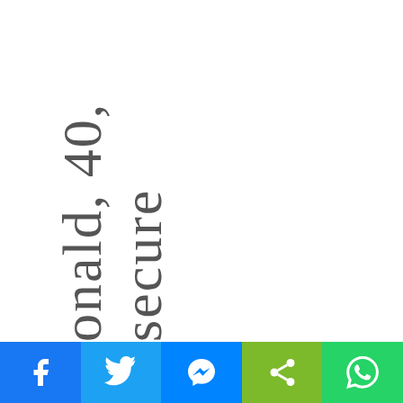onald, 40, secure
[Figure (infographic): Social media share bar with Facebook, Twitter, Messenger, Share, and WhatsApp buttons]